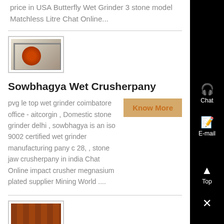price in USA Butterfly Wet Grinder 3 stone model Matchless Litre Chat Online...
[Figure (photo): Thumbnail photo of a stone crusher machine with white/grey body and red circular component]
Sowbhagya Wet Crusherpany
pvg le top wet grinder coimbatore office - aitcorgin , Domestic stone grinder delhi , sowbhagya is an iso 9002 certified wet grinder manufacturing pany c 28, , stone jaw crusherpany in india Chat Online impact crusher megnasium plated supplier Mining World ....
[Figure (photo): Thumbnail photo of a brick or stone wall pattern with reddish-brown color]